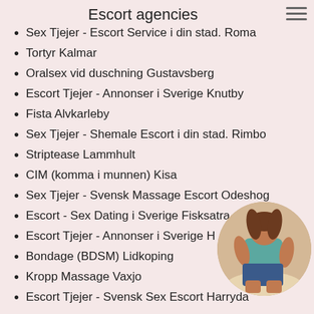Escort agencies
Sex Tjejer - Escort Service i din stad. Roma
Tortyr Kalmar
Oralsex vid duschning Gustavsberg
Escort Tjejer - Annonser i Sverige Knutby
Fista Alvkarleby
Sex Tjejer - Shemale Escort i din stad. Rimbo
Striptease Lammhult
CIM (komma i munnen) Kisa
Sex Tjejer - Svensk Massage Escort Odeshog
Escort - Sex Dating i Sverige Fisksatra
Escort Tjejer - Annonser i Sverige H
Bondage (BDSM) Lidkoping
Kropp Massage Vaxjo
Escort Tjejer - Svensk Sex Escort Harryda
[Figure (photo): Circular photo of a woman in a teal top and denim shorts, posed with back to camera, overlaid on the lower-right of the list.]